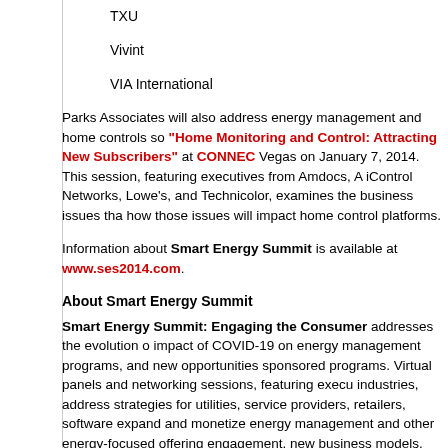TXU
Vivint
VIA International
Parks Associates will also address energy management and home controls so "Home Monitoring and Control: Attracting New Subscribers" at CONNEC Vegas on January 7, 2014. This session, featuring executives from Amdocs, A iControl Networks, Lowe's, and Technicolor, examines the business issues tha how those issues will impact home control platforms.
Information about Smart Energy Summit is available at www.ses2014.com.
About Smart Energy Summit
Smart Energy Summit: Engaging the Consumer addresses the evolution o impact of COVID-19 on energy management programs, and new opportunities sponsored programs. Virtual panels and networking sessions, featuring execu industries, address strategies for utilities, service providers, retailers, software expand and monetize energy management and other energy-focused offering engagement, new business models, unique partnerships, and innovative tech
Smart Energy Summit features an in-person conference February 28–Marc TX, with virtual sessions on April 7, June 30, August 4, and November 17. The from utilities, state and national regulators, telecom and security companies, r